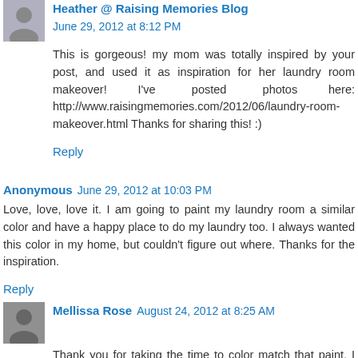Heather @ Raising Memories Blog June 29, 2012 at 8:12 PM
This is gorgeous! my mom was totally inspired by your post, and used it as inspiration for her laundry room makeover! I've posted photos here: http://www.raisingmemories.com/2012/06/laundry-room-makeover.html Thanks for sharing this! :)
Reply
Anonymous  June 29, 2012 at 10:03 PM
Love, love, love it. I am going to paint my laundry room a similar color and have a happy place to do my laundry too. I always wanted this color in my home, but couldn't figure out where. Thanks for the inspiration.
Reply
Mellissa Rose  August 24, 2012 at 8:25 AM
Thank you for taking the time to color match that paint. I am in LOVE with the color. I found you on a Pinterest board